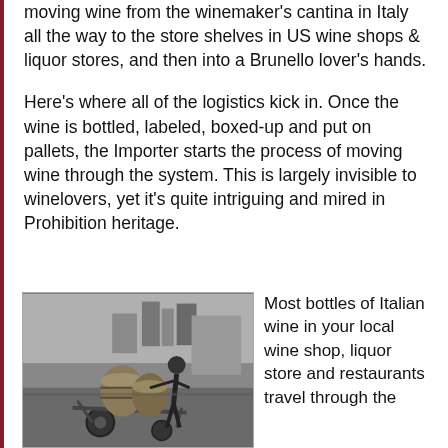moving wine from the winemaker's cantina in Italy all the way to the store shelves in US wine shops & liquor stores, and then into a Brunello lover's hands.
Here's where all of the logistics kick in. Once the wine is bottled, labeled, boxed-up and put on pallets, the Importer starts the process of moving wine through the system. This is largely invisible to winelovers, yet it's quite intriguing and mired in Prohibition heritage.
[Figure (photo): Black and white photograph of a man pushing a cart loaded with large wooden barrels or containers on a dock or outdoor area.]
Most bottles of Italian wine in your local wine shop, liquor store and restaurants travel through the